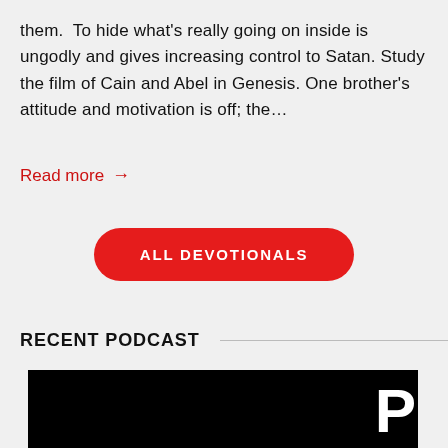them.  To hide what's really going on inside is ungodly and gives increasing control to Satan. Study the film of Cain and Abel in Genesis. One brother's attitude and motivation is off; the…
Read more →
ALL DEVOTIONALS
RECENT PODCAST
[Figure (photo): Dark/black podcast thumbnail image with a large white letter P in the upper right corner]